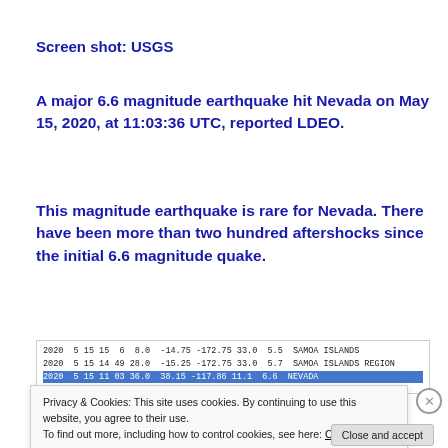Screen shot: USGS
A major 6.6 magnitude earthquake hit Nevada on May 15, 2020, at 11:03:36 UTC, reported LDEO.
This magnitude earthquake is rare for Nevada. There have been more than two hundred aftershocks since the initial 6.6 magnitude quake.
[Figure (screenshot): USGS earthquake data table screenshot showing rows of seismic event data including dates, coordinates, depths, magnitudes and location names for Samoa Islands events. One row is highlighted in blue.]
Privacy & Cookies: This site uses cookies. By continuing to use this website, you agree to their use.
To find out more, including how to control cookies, see here: Cookie Policy
Close and accept